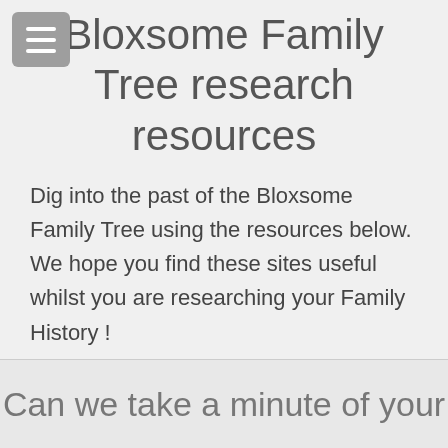Bloxsome Family Tree research resources
Dig into the past of the Bloxsome Family Tree using the resources below. We hope you find these sites useful whilst you are researching your Family History !
(Research another surname)
Can we take a minute of your